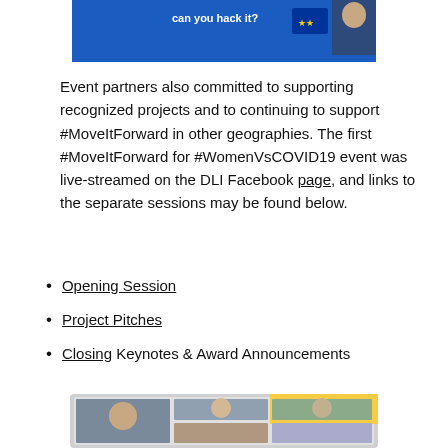[Figure (screenshot): Partial screenshot of a banner image with blue background reading 'can you hack it?' and a European Union flag icon]
Event partners also committed to supporting recognized projects and to continuing to support #MoveItForward in other geographies. The first #MoveItForward for #WomenVsCOVID19 event was live-streamed on the DLI Facebook page, and links to the separate sessions may be found below.
Opening Session
Project Pitches
Closing Keynotes & Award Announcements
[Figure (photo): Screenshot of a video conference call (appears to be Zoom or similar platform) showing a grid of participants' video feeds on a laptop or monitor screen]